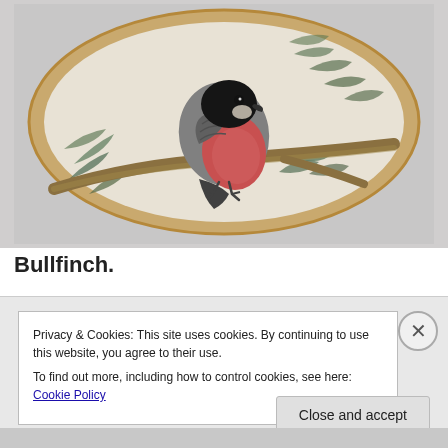[Figure (photo): Embroidery hoop containing a needlework depiction of a bullfinch bird perched on a branch with leaves, on a light linen background. The bird has a black head, grey back, and red/pink breast.]
Bullfinch.
Privacy & Cookies: This site uses cookies. By continuing to use this website, you agree to their use.
To find out more, including how to control cookies, see here: Cookie Policy